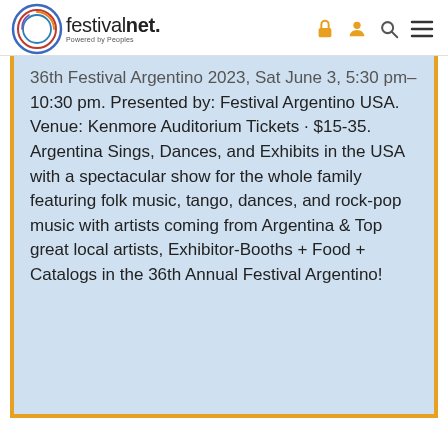festivalnet. Powered by Peoples
36th Festival Argentino 2023, Sat June 3, 5:30 pm–10:30 pm. Presented by: Festival Argentino USA. Venue: Kenmore Auditorium Tickets · $15-35. Argentina Sings, Dances, and Exhibits in the USA with a spectacular show for the whole family featuring folk music, tango, dances, and rock-pop music with artists coming from Argentina & Top great local artists, Exhibitor-Booths + Food + Catalogs in the 36th Annual Festival Argentino!